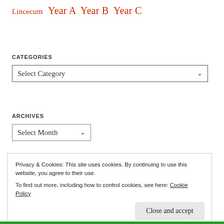Lincecum Year A Year B Year C
CATEGORIES
Select Category
ARCHIVES
Select Month
Privacy & Cookies: This site uses cookies. By continuing to use this website, you agree to their use.
To find out more, including how to control cookies, see here: Cookie Policy
Close and accept